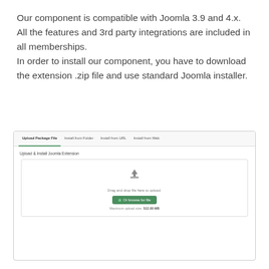Our component is compatible with Joomla 3.9 and 4.x. All the features and 3rd party integrations are included in all memberships. In order to install our component, you have to download the extension .zip file and use standard Joomla installer.
[Figure (screenshot): Joomla extension installer interface showing Upload Package File tab selected, with a drag-and-drop zone, an upload icon, text 'Drag and drop file here to upload', a green 'Or browse for file' button, and 'Maximum upload size: 512.00 MB' label.]